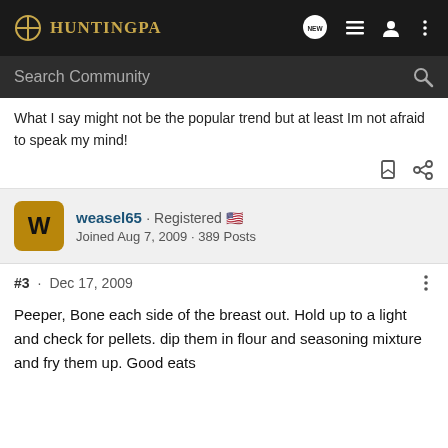HuntingPA
What I say might not be the popular trend but at least Im not afraid to speak my mind!
weasel65 · Registered
Joined Aug 7, 2009 · 389 Posts
#3 · Dec 17, 2009
Peeper, Bone each side of the breast out. Hold up to a light and check for pellets. dip them in flour and seasoning mixture and fry them up. Good eats